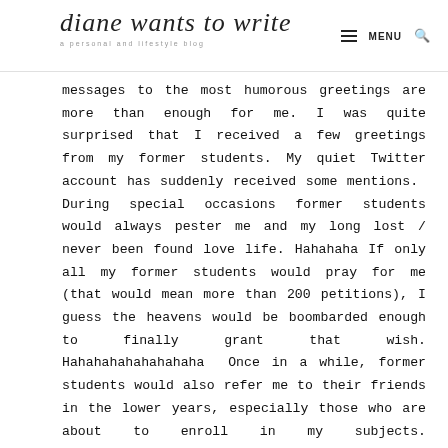diane wants to write — a personal and lifestyle blog | MENU
messages to the most humorous greetings are more than enough for me. I was quite surprised that I received a few greetings from my former students. My quiet Twitter account has suddenly received some mentions.  During special occasions former students would always pester me and my long lost / never been found love life. Hahahaha If only all my former students would pray for me (that would mean more than 200 petitions), I guess the heavens would be boombarded enough to finally grant that wish. Hahahahahahahahaha  Once in a while, former students would also refer me to their friends in the lower years, especially those who are about to enroll in my subjects. Unfortunately, destiny has other plans. My teaching load was reduced to one section. This also meant that I don't anymore teach the subjects I used to handle. But just the same, I have always been thankful for this opportunity.